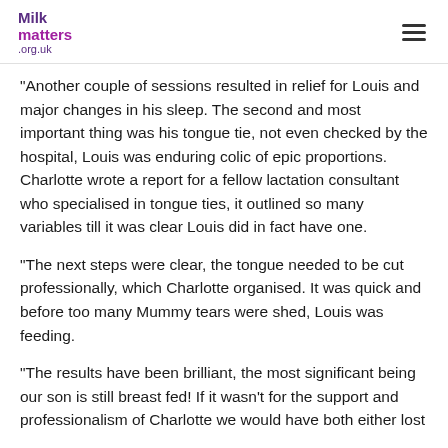Milk matters .org.uk
"Another couple of sessions resulted in relief for Louis and major changes in his sleep. The second and most important thing was his tongue tie, not even checked by the hospital, Louis was enduring colic of epic proportions. Charlotte wrote a report for a fellow lactation consultant who specialised in tongue ties, it outlined so many variables till it was clear Louis did in fact have one.
"The next steps were clear, the tongue needed to be cut professionally, which Charlotte organised. It was quick and before too many Mummy tears were shed, Louis was feeding.
"The results have been brilliant, the most significant being our son is still breast fed! If it wasn't for the support and professionalism of Charlotte we would have both either lost